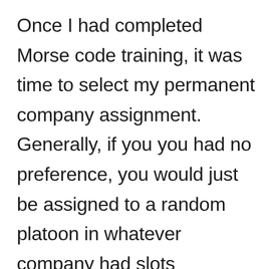Once I had completed Morse code training, it was time to select my permanent company assignment. Generally, if you you had no preference, you would just be assigned to a random platoon in whatever company had slots available. I was informed shortly after my arrival that there were a variety of different "special